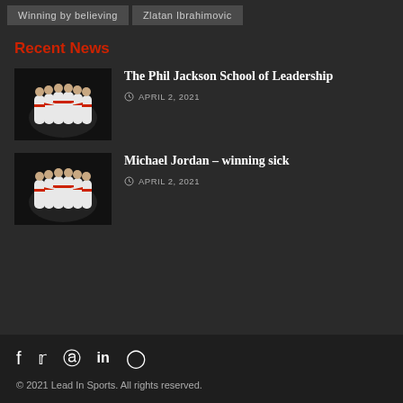Winning by believing
Zlatan Ibrahimovic
Recent News
[Figure (photo): Basketball team huddle in white uniforms with red accents on dark background]
The Phil Jackson School of Leadership
APRIL 2, 2021
[Figure (photo): Basketball team huddle in white uniforms with red accents on dark background]
Michael Jordan – winning sick
APRIL 2, 2021
f  Twitter  Pinterest  in  Instagram
© 2021 Lead In Sports. All rights reserved.